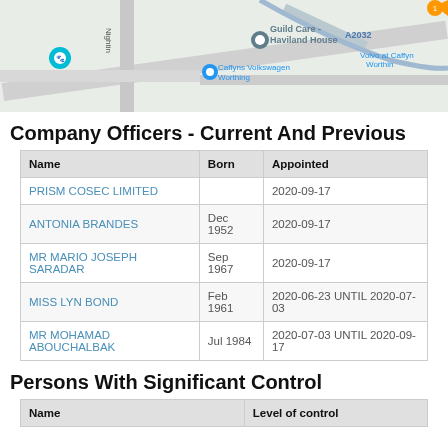[Figure (map): Google Maps screenshot showing area around Guild Care - Haviland House, Caffyns Volkswagen Worthing, Volvo at Caffyns Worthing, along road A2032]
Company Officers - Current And Previous
| Name | Born | Appointed |
| --- | --- | --- |
| PRISM COSEC LIMITED |  | 2020-09-17 |
| ANTONIA BRANDES | Dec 1952 | 2020-09-17 |
| MR MARIO JOSEPH SARADAR | Sep 1967 | 2020-09-17 |
| MISS LYN BOND | Feb 1961 | 2020-06-23 UNTIL 2020-07-03 |
| MR MOHAMAD ABOUCHALBAK | Jul 1984 | 2020-07-03 UNTIL 2020-09-17 |
Persons With Significant Control
| Name | Level of control |
| --- | --- |